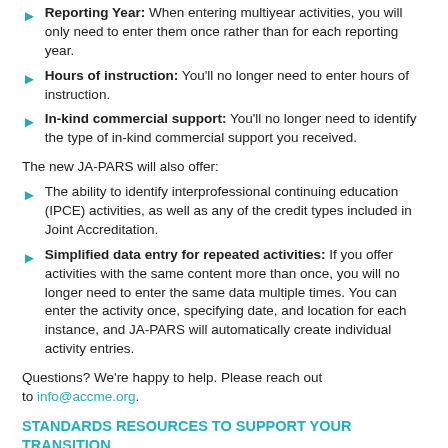Reporting Year: When entering multiyear activities, you will only need to enter them once rather than for each reporting year.
Hours of instruction: You'll no longer need to enter hours of instruction.
In-kind commercial support: You'll no longer need to identify the type of in-kind commercial support you received.
The new JA-PARS will also offer:
The ability to identify interprofessional continuing education (IPCE) activities, as well as any of the credit types included in Joint Accreditation.
Simplified data entry for repeated activities: If you offer activities with the same content more than once, you will no longer need to enter the same data multiple times. You can enter the activity once, specifying date, and location for each instance, and JA-PARS will automatically create individual activity entries.
Questions? We're happy to help. Please reach out to info@accme.org.
STANDARDS RESOURCES TO SUPPORT YOUR TRANSITION